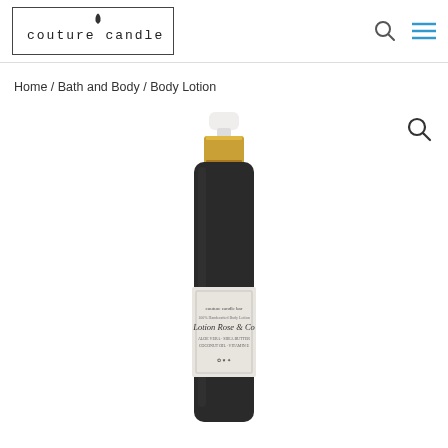[Figure (logo): Couture Candle Bar logo with text in a rectangular border and flame icon above the 'd' in candle]
Home / Bath and Body / Body Lotion
[Figure (photo): A dark glass pump bottle of body lotion with a gold pump top and white pump head, with a label reading 'Lotion Rose & Co' with additional text]